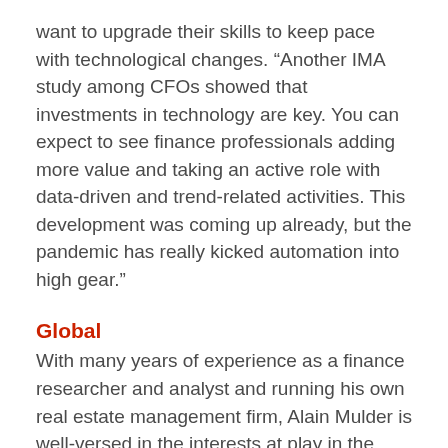want to upgrade their skills to keep pace with technological changes. “Another IMA study among CFOs showed that investments in technology are key. You can expect to see finance professionals adding more value and taking an active role with data-driven and trend-related activities. This development was coming up already, but the pandemic has really kicked automation into high gear.”
Global
With many years of experience as a finance researcher and analyst and running his own real estate management firm, Alain Mulder is well-versed in the interests at play in the finance and IT markets. “At IMA I found everything I wanted: work